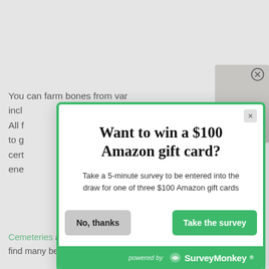You can farm bones from various sources, including... All farming... to get... certificates... enemies.
One... is the... character... both Skeleton... Spectral... have a strong... However, if you require bones after the fact, you will need to find another location. Luckily, there are other
[Figure (screenshot): A survey popup modal with green border asking 'Want to win a $100 Amazon gift card?' with subtitle 'Take a 5-minute survey to be entered into the draw for one of three $100 Amazon gift cards', two buttons: 'No, thanks' (grey) and 'Take the survey' (green), and a SurveyMonkey powered-by footer in green.]
Cemeteries and Graveyards where players can find many bears and wolves.